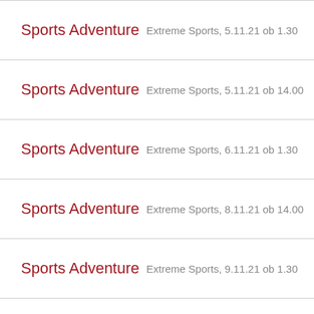Sports Adventure — Extreme Sports, 5.11.21 ob 1.30
Sports Adventure — Extreme Sports, 5.11.21 ob 14.00
Sports Adventure — Extreme Sports, 6.11.21 ob 1.30
Sports Adventure — Extreme Sports, 8.11.21 ob 14.00
Sports Adventure — Extreme Sports, 9.11.21 ob 1.30
Sports Adventure — Extreme Sports, 9.11.21 ob 14.00
Sports Adventure — Extreme Sports, 10.11.21 ob 1.30